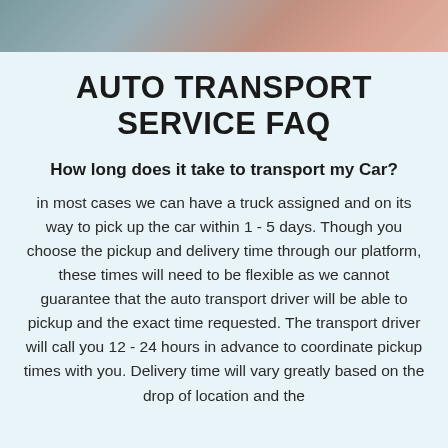[Figure (photo): Top strip showing a partial photo of cars being transported on a truck carrier, reddish-orange tones visible on right side]
AUTO TRANSPORT SERVICE FAQ
How long does it take to transport my Car?
in most cases we can have a truck assigned and on its way to pick up the car within 1 - 5 days. Though you choose the pickup and delivery time through our platform, these times will need to be flexible as we cannot guarantee that the auto transport driver will be able to pickup and the exact time requested. The transport driver will call you 12 - 24 hours in advance to coordinate pickup times with you. Delivery time will vary greatly based on the drop of location and the